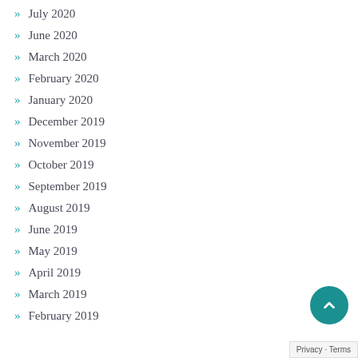July 2020
June 2020
March 2020
February 2020
January 2020
December 2019
November 2019
October 2019
September 2019
August 2019
June 2019
May 2019
April 2019
March 2019
February 2019